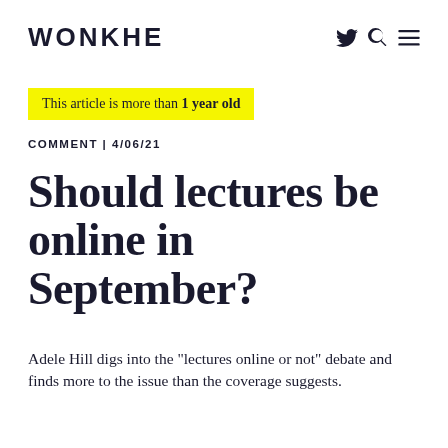WONKHE
This article is more than 1 year old
COMMENT | 4/06/21
Should lectures be online in September?
Adele Hill digs into the "lectures online or not" debate and finds more to the issue than the coverage suggests.